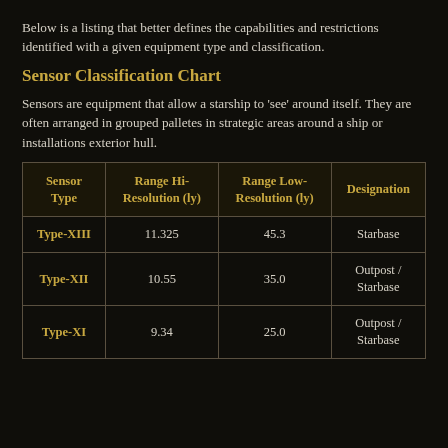Below is a listing that better defines the capabilities and restrictions identified with a given equipment type and classification.
Sensor Classification Chart
Sensors are equipment that allow a starship to 'see' around itself. They are often arranged in grouped palletes in strategic areas around a ship or installations exterior hull.
| Sensor Type | Range Hi-Resolution (ly) | Range Low-Resolution (ly) | Designation |
| --- | --- | --- | --- |
| Type-XIII | 11.325 | 45.3 | Starbase |
| Type-XII | 10.55 | 35.0 | Outpost / Starbase |
| Type-XI | 9.34 | 25.0 | Outpost / Starbase |